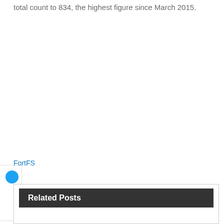total count to 834, the highest figure since March 2015.
[Figure (other): Twitter/social share widget button on the left side of the page, showing a blue circle icon]
FortFS
Related Posts